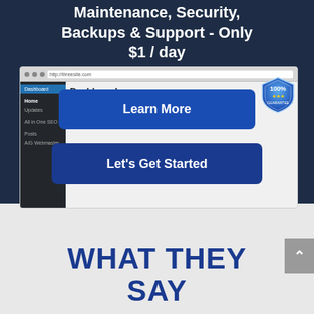Maintenance, Security, Backups & Support - Only $1 / day
[Figure (screenshot): WordPress dashboard screenshot with 'Learn More' and 'Let's Get Started' buttons overlaid, and a 100% money-back guarantee badge]
WHAT THEY SAY